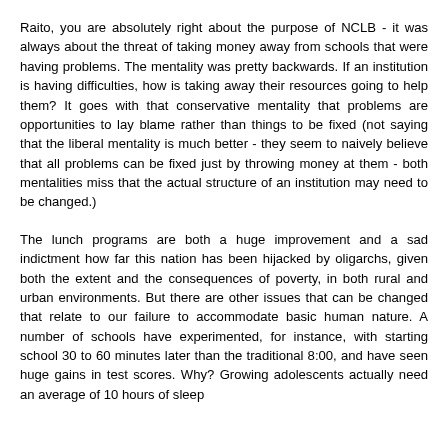Raito, you are absolutely right about the purpose of NCLB - it was always about the threat of taking money away from schools that were having problems. The mentality was pretty backwards. If an institution is having difficulties, how is taking away their resources going to help them? It goes with that conservative mentality that problems are opportunities to lay blame rather than things to be fixed (not saying that the liberal mentality is much better - they seem to naively believe that all problems can be fixed just by throwing money at them - both mentalities miss that the actual structure of an institution may need to be changed.)
The lunch programs are both a huge improvement and a sad indictment how far this nation has been hijacked by oligarchs, given both the extent and the consequences of poverty, in both rural and urban environments. But there are other issues that can be changed that relate to our failure to accommodate basic human nature. A number of schools have experimented, for instance, with starting school 30 to 60 minutes later than the traditional 8:00, and have seen huge gains in test scores. Why? Growing adolescents actually need an average of 10 hours of sleep